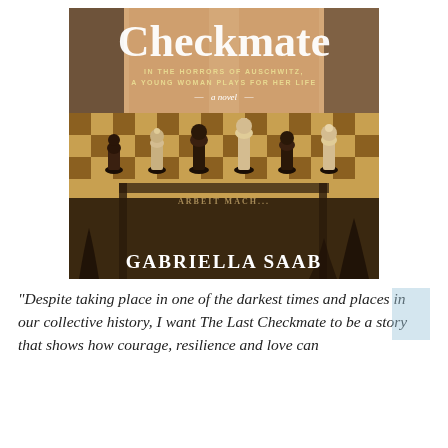[Figure (illustration): Book cover of 'The Last Checkmate' by Gabriella Saab. The cover shows a woman's legs behind a chess board with ornate chess pieces. In the background is the Auschwitz 'Arbeit Macht Frei' gate. Title 'Checkmate' in large white serif font at top, subtitle 'In the horrors of Auschwitz, a young woman plays for her life', '— a novel —', and author name 'Gabriella Saab' at bottom.]
“Despite taking place in one of the darkest times and places in our collective history, I want The Last Checkmate to be a story that shows how courage, resilience and love can